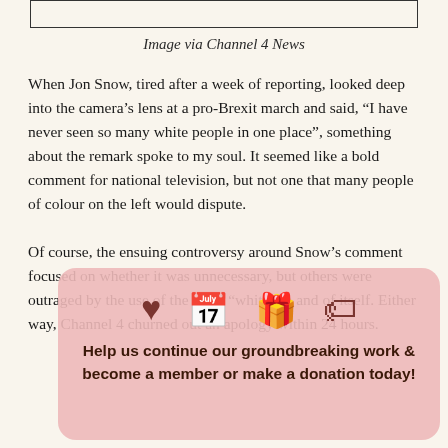Image via Channel 4 News
When Jon Snow, tired after a week of reporting, looked deep into the camera’s lens at a pro-Brexit march and said, “I have never seen so many white people in one place”, something about the remark spoke to my soul. It seemed like a bold comment for national television, but not one that many people of colour on the left would dispute.

Of course, the ensuing controversy around Snow’s comment focused on whether it was unnecessary, but others were outraged by the use of the word “white” in and of itself. Either way, Channel 4 churned out an apology within 24 hours.